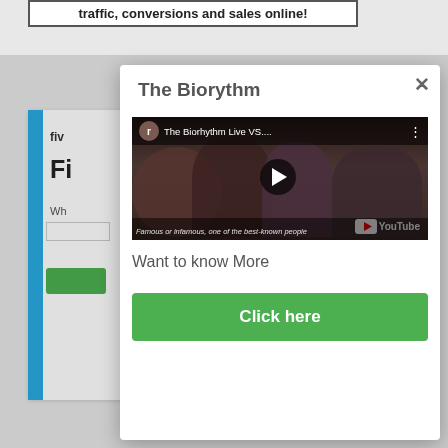traffic, conversions and sales online!
[Figure (screenshot): Partially visible web page showing a Fiverr-like card with blue sidebar, text 'Fi', 'Wh', input, and green button]
The Biorythm
[Figure (screenshot): YouTube video thumbnail showing 'The Biorhythm Live VS...' with people in the background and a play button overlay]
Want to know More
Click here